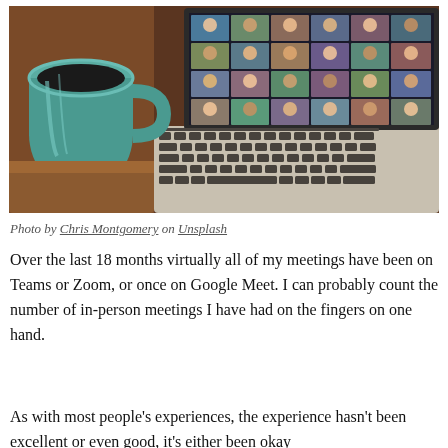[Figure (photo): A teal/green ceramic coffee mug on a wooden surface next to an open MacBook laptop displaying a video conference call with many participants in a grid layout (like Zoom or Teams). The laptop keyboard is visible in the foreground.]
Photo by Chris Montgomery on Unsplash
Over the last 18 months virtually all of my meetings have been on Teams or Zoom, or once on Google Meet. I can probably count the number of in-person meetings I have had on the fingers on one hand.
As with most people's experiences, the experience hasn't been excellent or even good, it's either been okay